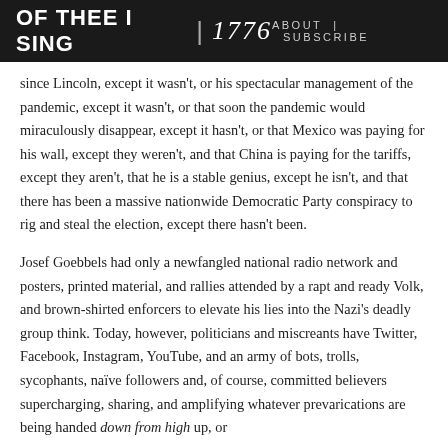OF THEE I SING | 1776   ABOUT | SUBSCRIBE
since Lincoln, except it wasn't, or his spectacular management of the pandemic, except it wasn't, or that soon the pandemic would miraculously disappear, except it hasn't, or that Mexico was paying for his wall, except they weren't, and that China is paying for the tariffs, except they aren't, that he is a stable genius, except he isn't, and that there has been a massive nationwide Democratic Party conspiracy to rig and steal the election, except there hasn't been.
Josef Goebbels had only a newfangled national radio network and posters, printed material, and rallies attended by a rapt and ready Volk, and brown-shirted enforcers to elevate his lies into the Nazi's deadly group think. Today, however, politicians and miscreants have Twitter, Facebook, Instagram, YouTube, and an army of bots, trolls, sycophants, naïve followers and, of course, committed believers supercharging, sharing, and amplifying whatever prevarications are being handed down from high up, or